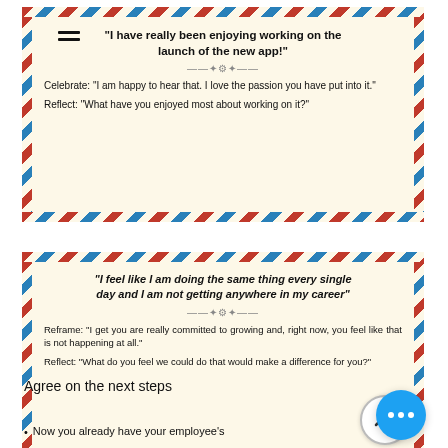[Figure (infographic): Airmail-bordered card with hamburger menu icon, bold quote and response prompts for a manager conversation example about app launch enjoyment.]
[Figure (infographic): Airmail-bordered card with bold italic quote and response prompts for a manager conversation example about career stagnation.]
Agree on the next steps
Now you already have your employee's